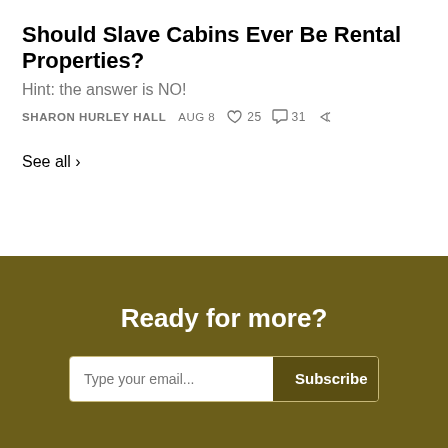Should Slave Cabins Ever Be Rental Properties?
Hint: the answer is NO!
SHARON HURLEY HALL  AUG 8  ♡ 25  ◯ 31  ↪
See all ›
Ready for more?
Type your email...  Subscribe